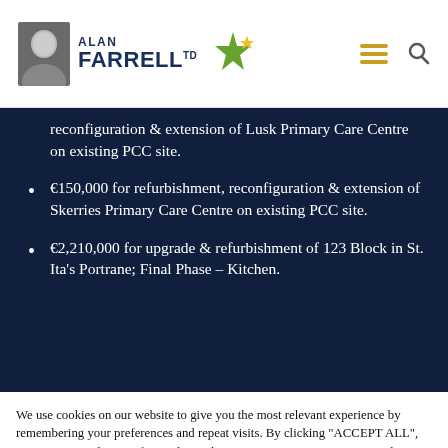Alan Farrell TD
reconfiguration & extension of Lusk Primary Care Centre on existing PCC site.
€150,000 for refurbishment, reconfiguration & extension of Skerries Primary Care Centre on existing PCC site.
€2,210,000 for upgrade & refurbishment of 123 Block in St. Ita's Portrane; Final Phase – Kitchen.
We use cookies on our website to give you the most relevant experience by remembering your preferences and repeat visits. By clicking "ACCEPT ALL", you consent to the use of ALL the cookies. However, you may visit "Cookie Settings" to provide a controlled consent.